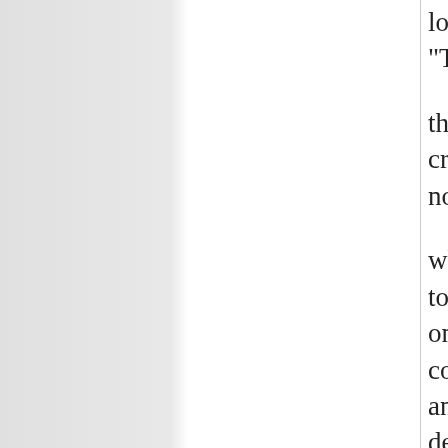look back on and call something like "The Gathering Storm"
the 08 oil spike, the 08 economic crash, the bail out of the banks, and now cascading soverign default.
what happens when countries have too much debt, and are forced into too onerous terms by the international community? the population revolts, and elects a "strongman" who will defy the authorities and renege on the debt, and "make (enter country name here) strong again"
UK, Germany, US, Japan, you name it